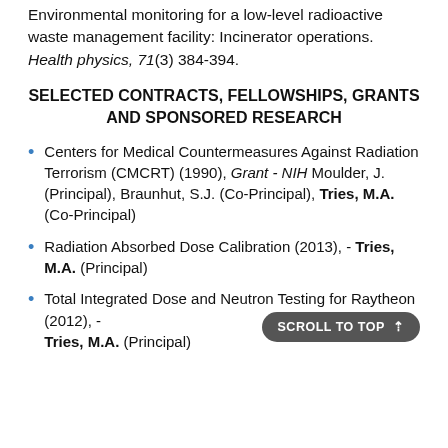Environmental monitoring for a low-level radioactive waste management facility: Incinerator operations. Health physics, 71(3) 384-394.
SELECTED CONTRACTS, FELLOWSHIPS, GRANTS AND SPONSORED RESEARCH
Centers for Medical Countermeasures Against Radiation Terrorism (CMCRT) (1990), Grant - NIH Moulder, J. (Principal), Braunhut, S.J. (Co-Principal), Tries, M.A. (Co-Principal)
Radiation Absorbed Dose Calibration (2013), - Tries, M.A. (Principal)
Total Integrated Dose and Neutron Testing for Raytheon (2012), - Tries, M.A. (Principal)